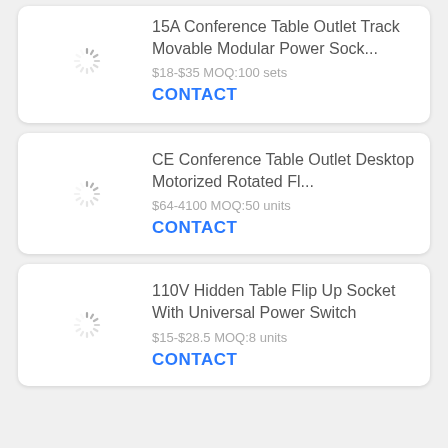[Figure (other): Loading spinner for product image]
15A Conference Table Outlet Track Movable Modular Power Sock...
$18-$35 MOQ:100 sets
CONTACT
[Figure (other): Loading spinner for product image]
CE Conference Table Outlet Desktop Motorized Rotated Fl...
$64-4100 MOQ:50 units
CONTACT
[Figure (other): Loading spinner for product image]
110V Hidden Table Flip Up Socket With Universal Power Switch
$15-$28.5 MOQ:8 units
CONTACT